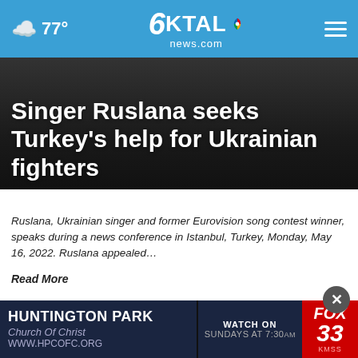77° | KTAL news.com
Singer Ruslana seeks Turkey's help for Ukrainian fighters
Ruslana, Ukrainian singer and former Eurovision song contest winner, speaks during a news conference in Istanbul, Turkey, Monday, May 16, 2022. Ruslana appealed…
Read More
Posted: May 16, 2022 / 11:18 AM CDT
Updated: May 16, 2022 / 11:18 AM CDT
SHARE
ISTANBUL — HUNTINGTON PARK Church Of Christ WWW.HPCOFC.ORG | WATCH ON SUNDAYS AT 7:30AM | FOX 33 KMSS
Eurov… y's